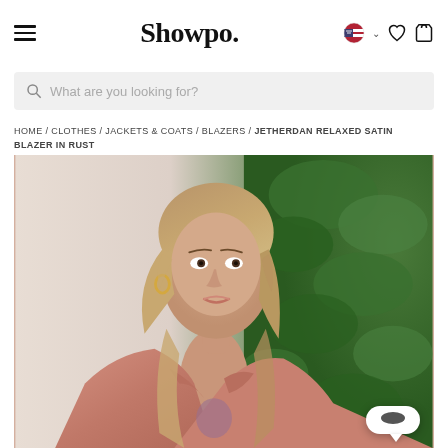Showpo. [navigation with hamburger menu, flag/language selector, wishlist heart, and shopping bag icons]
What are you looking for? [search bar]
HOME / CLOTHES / JACKETS & COATS / BLAZERS / JETHERDAN RELAXED SATIN BLAZER IN RUST
[Figure (photo): Woman wearing a rust/pink satin relaxed blazer, standing outdoors in front of green foliage. The model has long wavy blonde hair and gold hoop earrings. A chat support bubble is visible in the bottom right corner.]